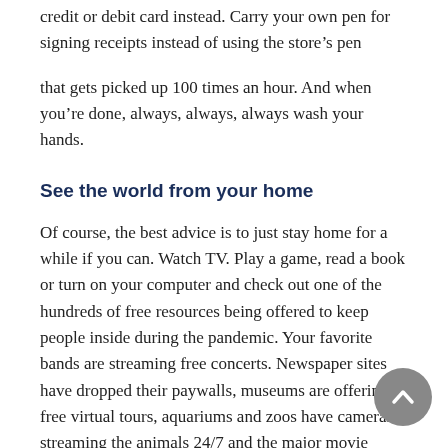credit or debit card instead. Carry your own pen for signing receipts instead of using the store's pen
that gets picked up 100 times an hour. And when you're done, always, always, always wash your hands.
See the world from your home
Of course, the best advice is to just stay home for a while if you can. Watch TV. Play a game, read a book or turn on your computer and check out one of the hundreds of free resources being offered to keep people inside during the pandemic. Your favorite bands are streaming free concerts. Newspaper sites have dropped their paywalls, museums are offering free virtual tours, aquariums and zoos have cameras streaming the animals 24/7 and the major movie studios are releasing this spring's movies to the Internet for immediate rentals, rather than putting